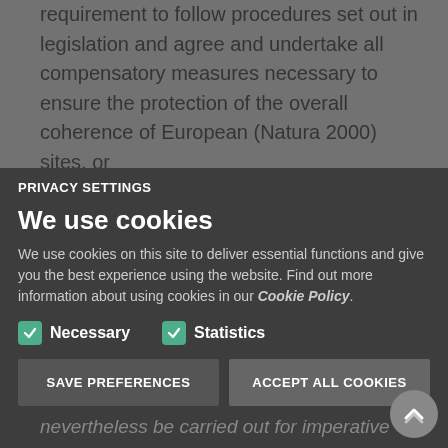requirement to follow procedures set out in legislation and agree and undertake all compensatory measures necessary to ensure the protection of the overall coherence of European (Natura 2000) sites, or
or project will have a significant adverse effect on the integrity of any Natura 2000 site(s) that hosts natural habitat systems//or species...
nevertheless be carried out for imperative...
restricted to reasons of human health or
priority environmental site the environment
[Figure (screenshot): Cookie consent overlay panel with PRIVACY SETTINGS header, 'We use cookies' title, description text about cookies, Cookie Policy link, Necessary and Statistics checkboxes (both checked in green), SAVE PREFERENCES and ACCEPT ALL COOKIES buttons]
PRIVACY SETTINGS
We use cookies
We use cookies on this site to deliver essential functions and give you the best experience using the website. Find out more information about using cookies in our Cookie Policy.
Necessary
Statistics
SAVE PREFERENCES
ACCEPT ALL COOKIES